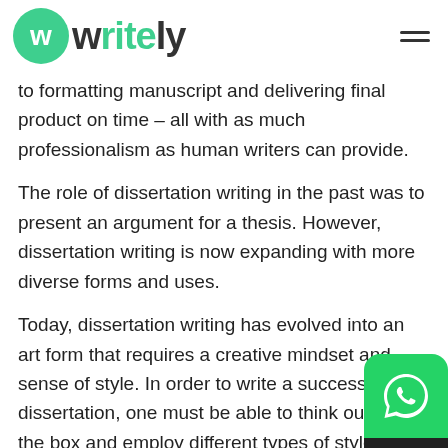writely
to formatting manuscript and delivering final product on time – all with as much professionalism as human writers can provide.
The role of dissertation writing in the past was to present an argument for a thesis. However, dissertation writing is now expanding with more diverse forms and uses.
Today, dissertation writing has evolved into an art form that requires a creative mindset and sense of style. In order to write a successful dissertation, one must be able to think outside the box and employ different types of styles in order to capture their audience's attention.
[Figure (logo): WhatsApp floating action button, green rounded square with white phone icon]